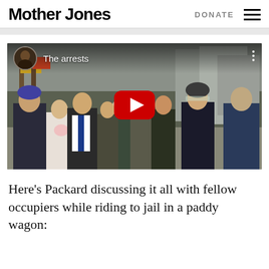Mother Jones | DONATE
[Figure (screenshot): YouTube video thumbnail showing a crowd scene with police and protesters, titled 'The arrests'. A red YouTube play button is centered on the image. A circular avatar of a person appears in the top-left corner.]
Here’s Packard discussing it all with fellow occupiers while riding to jail in a paddy wagon: